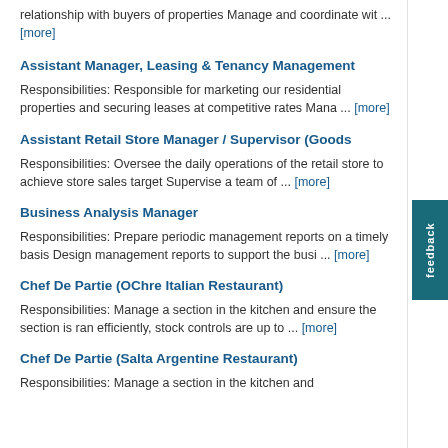relationship with buyers of properties Manage and coordinate wit ... [more]
Assistant Manager, Leasing & Tenancy Management
Responsibilities: Responsible for marketing our residential properties and securing leases at competitive rates Mana ... [more]
Assistant Retail Store Manager / Supervisor (Goods
Responsibilities: Oversee the daily operations of the retail store to achieve store sales target Supervise a team of ... [more]
Business Analysis Manager
Responsibilities: Prepare periodic management reports on a timely basis Design management reports to support the busi ... [more]
Chef De Partie (OChre Italian Restaurant)
Responsibilities: Manage a section in the kitchen and ensure the section is ran efficiently, stock controls are up to ... [more]
Chef De Partie (Salta Argentine Restaurant)
Responsibilities: Manage a section in the kitchen and